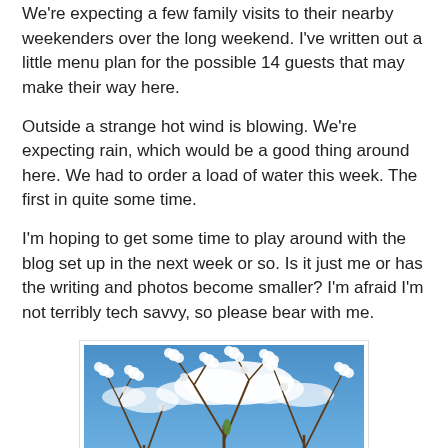We're expecting a few family visits to their nearby weekenders over the long weekend. I've written out a little menu plan for the possible 14 guests that may make their way here.
Outside a strange hot wind is blowing. We're expecting rain, which would be a good thing around here. We had to order a load of water this week. The first in quite some time.
I'm hoping to get some time to play around with the blog set up in the next week or so. Is it just me or has the writing and photos become smaller? I'm afraid I'm not terribly tech savvy, so please bear with me.
[Figure (photo): Photo of flowering tree branches with white blossoms against a blue sky with white clouds]